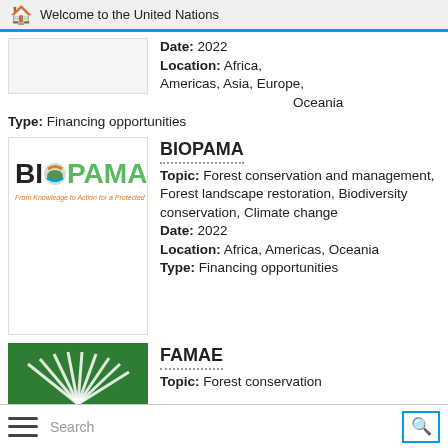Welcome to the United Nations
Date: 2022
Location: Africa, Americas, Asia, Europe, Oceania
Type: Financing opportunities
[Figure (logo): BIOPAMA logo — 'From Knowledge to Action for a Protected Planet']
BIOPAMA
Topic: Forest conservation and management, Forest landscape restoration, Biodiversity conservation, Climate change
Date: 2022
Location: Africa, Americas, Oceania
Type: Financing opportunities
[Figure (logo): FAMAE logo — green circular design on dark green background]
FAMAE
Topic: Forest conservation